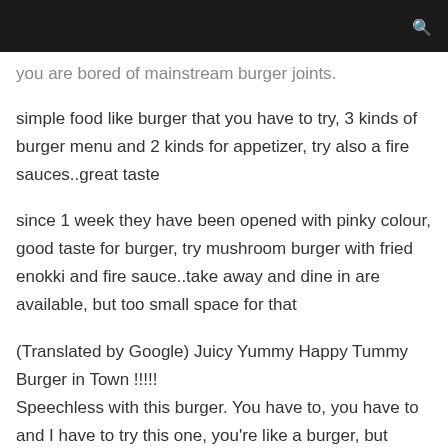you are bored of mainstream burger joints.
simple food like burger that you have to try, 3 kinds of burger menu and 2 kinds for appetizer, try also a fire sauces..great taste
since 1 week they have been opened with pinky colour, good taste for burger, try mushroom burger with fried enokki and fire sauce..take away and dine in are available, but too small space for that
(Translated by Google) Juicy Yummy Happy Tummy Burger in Town !!!!!
Speechless with this burger. You have to, you have to and I have to try this one, you're like a burger, but you're bored of all the B burgers. Coincidentally this day they